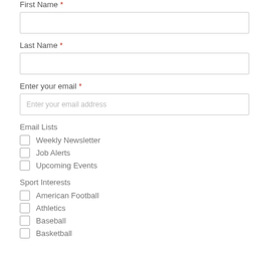First Name *
[Figure (other): Text input box for First Name]
Last Name *
[Figure (other): Text input box for Last Name]
Enter your email *
[Figure (other): Text input box for email with placeholder 'Enter your email address']
Email Lists
Weekly Newsletter
Job Alerts
Upcoming Events
Sport Interests
American Football
Athletics
Baseball
Basketball